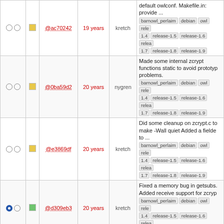|  |  |  | Rev | Age | Author | Log Message |
| --- | --- | --- | --- | --- | --- | --- |
| ○ ○ | □(yellow) | @ac70242 | 19 years | kretch | default owlconf. Makefile.in: provide ... barnowl_perlaim debian owl release-1.4 release-1.5 release-1.6 release-1.7 release-1.8 release-1.9 |
| ○ ○ | □(yellow) | @0ba59d2 | 20 years | nygren | Made some internal zcrypt functions static to avoid prototype problems. barnowl_perlaim debian owl release-1.4 release-1.5 release-1.6 release-1.7 release-1.8 release-1.9 |
| ○ ○ | □(yellow) | @e3869df | 20 years | kretch | Did some cleanup on zcrypt.c to make -Wall quiet Added a fielddata to ... barnowl_perlaim debian owl release-1.4 release-1.5 release-1.6 release-1.7 release-1.8 release-1.9 |
| ● ○ | □(green) | @d309eb3 | 20 years | kretch | Fixed a memory bug in getsubs. Added receive support for zcrypt. barnowl_perlaim debian owl release-1.4 release-1.5 release-1.6 release-1.7 release-1.8 release-1.9 |
Note: See TracRevisionLog for help on using the revision log.
Download in other formats:
RSS Feed | ChangeLog
[Figure (logo): Trac powered logo with paw print]
Powered by Trac 1.0.2 By Edgewall Software.
The photo in the BarnOwl logo is from Steve Brace on Flickr and used under CC-BY